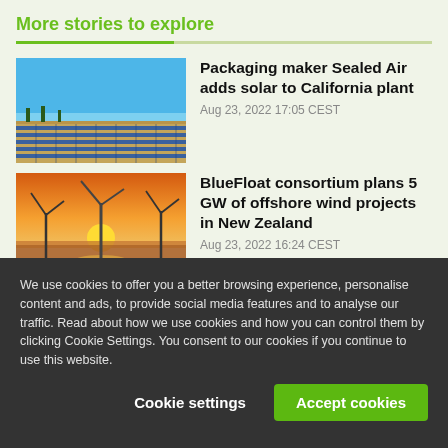More stories to explore
[Figure (photo): Solar panel farm under clear blue sky]
Packaging maker Sealed Air adds solar to California plant
Aug 23, 2022 17:05 CEST
[Figure (photo): Offshore wind turbines at sunset with orange sky reflected on water]
BlueFloat consortium plans 5 GW of offshore wind projects in New Zealand
Aug 23, 2022 16:24 CEST
We use cookies to offer you a better browsing experience, personalise content and ads, to provide social media features and to analyse our traffic. Read about how we use cookies and how you can control them by clicking Cookie Settings. You consent to our cookies if you continue to use this website.
Cookie settings
Accept cookies